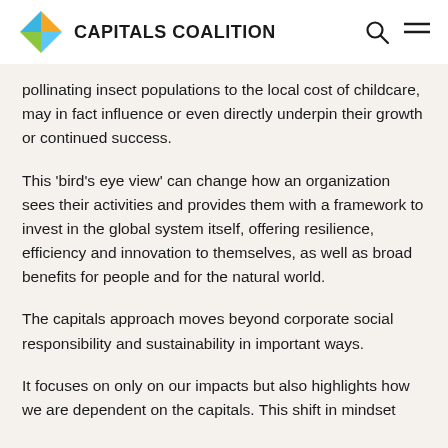CAPITALS COALITION
pollinating insect populations to the local cost of childcare, may in fact influence or even directly underpin their growth or continued success.
This ‘bird’s eye view’ can change how an organization sees their activities and provides them with a framework to invest in the global system itself, offering resilience, efficiency and innovation to themselves, as well as broad benefits for people and for the natural world.
The capitals approach moves beyond corporate social responsibility and sustainability in important ways.
It focuses on only on our impacts but also highlights how we are dependent on the capitals. This shift in mindset